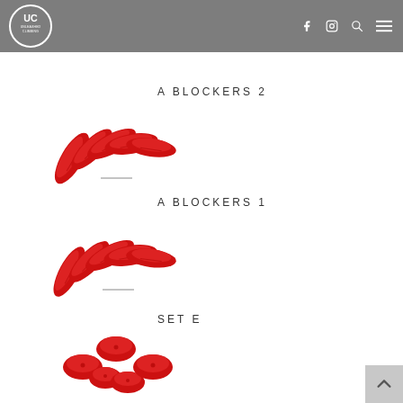Unleashed Climbing
A BLOCKERS 2
[Figure (photo): Red climbing holds - A Blockers 2 set, fan-shaped arrangement of crescent/slab holds in red]
A BLOCKERS 1
[Figure (photo): Red climbing holds - A Blockers 1 set, fan-shaped arrangement of crescent/slab holds in red]
SET E
[Figure (photo): Red climbing holds - Set E, rounded jug/edge holds in red arranged in a cluster]